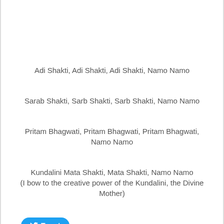Adi Shakti, Adi Shakti, Adi Shakti, Namo Namo
Sarab Shakti, Sarb Shakti, Sarb Shakti, Namo Namo
Pritam Bhagwati, Pritam Bhagwati, Pritam Bhagwati, Namo Namo
Kundalini Mata Shakti, Mata Shakti, Namo Namo
(I bow to the creative power of the Kundalini, the Divine Mother)
[Figure (other): Tweet button (Twitter/X share button in blue)]